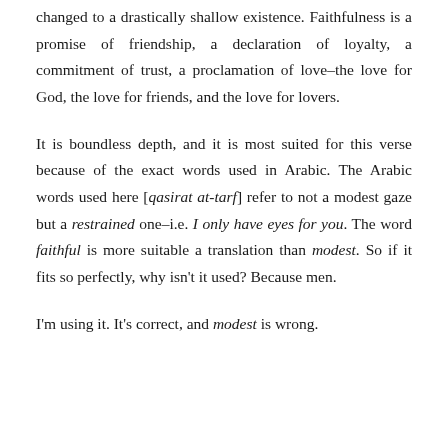changed to a drastically shallow existence. Faithfulness is a promise of friendship, a declaration of loyalty, a commitment of trust, a proclamation of love–the love for God, the love for friends, and the love for lovers.
It is boundless depth, and it is most suited for this verse because of the exact words used in Arabic. The Arabic words used here [qasirat at-tarf] refer to not a modest gaze but a restrained one–i.e. I only have eyes for you. The word faithful is more suitable a translation than modest. So if it fits so perfectly, why isn't it used? Because men.
I'm using it. It's correct, and modest is wrong.